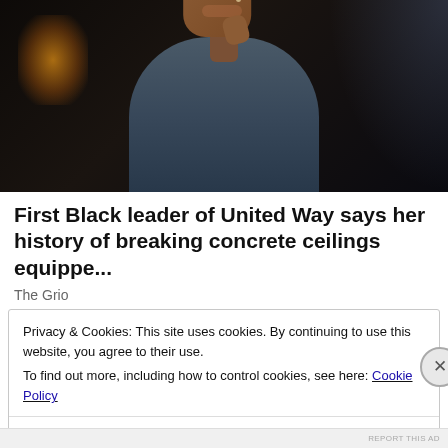[Figure (photo): Portrait photo of a Black woman in a dark blue turtleneck, hand raised near chin, smiling, with a dark bokeh background and amber light in the background left]
First Black leader of United Way says her history of breaking concrete ceilings equippe...
The Grio
Privacy & Cookies: This site uses cookies. By continuing to use this website, you agree to their use.
To find out more, including how to control cookies, see here: Cookie Policy
Close and accept